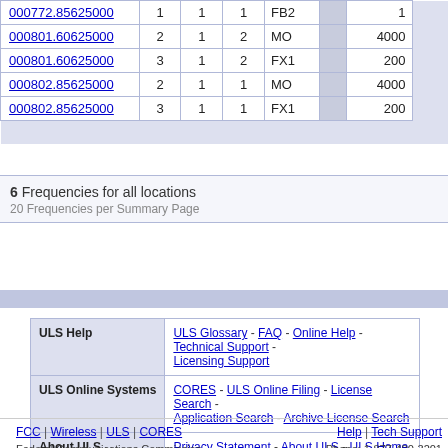| Frequency |  |  |  | Type |  |  |
| --- | --- | --- | --- | --- | --- | --- |
| 000772.85625000 | 1 | 1 | 1 | FB2 |  | 1 |
| 000801.60625000 | 2 | 1 | 2 | MO |  | 4000 |
| 000801.60625000 | 3 | 1 | 2 | FX1 |  | 200 |
| 000802.85625000 | 2 | 1 | 1 | MO |  | 4000 |
| 000802.85625000 | 3 | 1 | 1 | FX1 |  | 200 |
6 Frequencies for all locations
20 Frequencies per Summary Page
| ULS Help | ULS Online Systems | About ULS | Basic Search |
| --- | --- | --- | --- |
| ULS Glossary - FAQ - Online Help - Technical Support - Licensing Support |  |  |  |
| CORES - ULS Online Filing - License Search - Application Search - Archive License Search |  |  |  |
| Privacy Statement - About ULS - ULS Home |  |  |  |
| By Call Sign = [input] SEARCH |  |  |  |
FCC | Wireless | ULS | CORES   Help | Tech Support
Federal Communications Commission   Phone: 1-877-480-3201
45 L Street NE